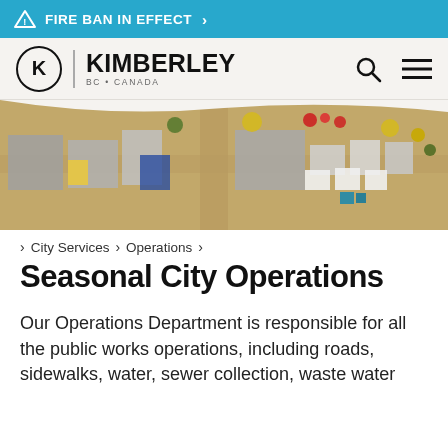FIRE BAN IN EFFECT
[Figure (logo): Kimberley BC Canada city logo with circular K emblem]
[Figure (photo): Aerial overhead view of Kimberley city operations buildings and grounds]
City Services > Operations >
Seasonal City Operations
Our Operations Department is responsible for all the public works operations, including roads, sidewalks, water, sewer collection, waste water